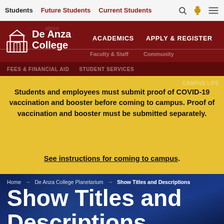Students  Future Students  Current Students
[Figure (screenshot): De Anza College website header with dark red background, college logo (arch icon), navigation links: ACADEMICS, APPLY & REGISTER, FEES & FINANCIAL AID, STUDENT SERVICES, CAMPUS LIFE, with ghost overlapping nav items for Faculty & Staff and Community]
Students and employees must submit proof of COVID-19 vaccination and booster before coming to campus. Proof of vaccination and booster must be submitted separately.
See instructions for coming to campus.
Home → De Anza College Planetarium → Show Titles and Descriptions
Show Titles and Descriptions